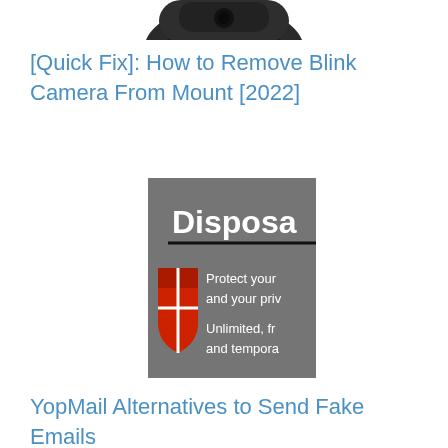[Figure (photo): Partial top view of a black Blink camera, cropped at the top of the page]
[Quick Fix]: How to Remove Blink Camera From Mount [2022]
[Figure (screenshot): Screenshot of a Disposable email service interface. Shows a red shield logo on grey background with text: 'Disposa' (cut off), 'Protect your and your priv', 'Unlimited, fr', 'and tempora']
YopMail Alternatives to Send Fake Emails